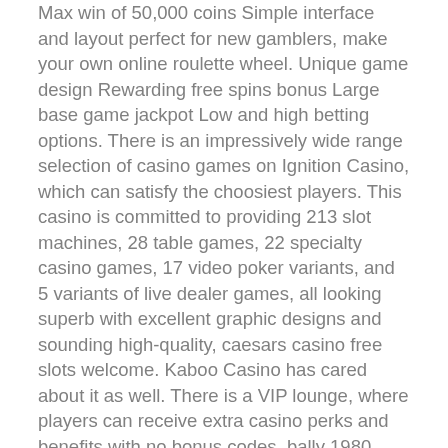Max win of 50,000 coins Simple interface and layout perfect for new gamblers, make your own online roulette wheel. Unique game design Rewarding free spins bonus Large base game jackpot Low and high betting options. There is an impressively wide range selection of casino games on Ignition Casino, which can satisfy the choosiest players. This casino is committed to providing 213 slot machines, 28 table games, 22 specialty casino games, 17 video poker variants, and 5 variants of live dealer games, all looking superb with excellent graphic designs and sounding high-quality, caesars casino free slots welcome. Kaboo Casino has cared about it as well. There is a VIP lounge, where players can receive extra casino perks and benefits with no bonus codes, bally 1980 model 1097-4 slot machine repair. Legitimate for: RTG Magic Mushroo Slot. Take a look at your cashier to